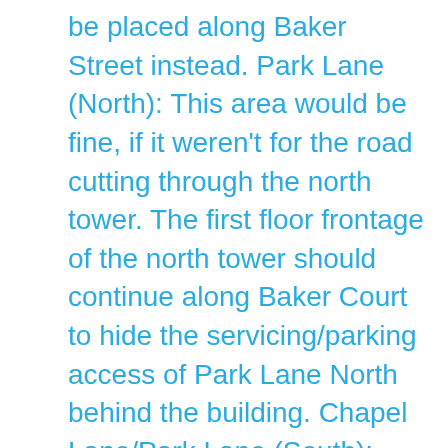be placed along Baker Street instead. Park Lane (North): This area would be fine, if it weren't for the road cutting through the north tower. The first floor frontage of the north tower should continue along Baker Court to hide the servicing/parking access of Park Lane North behind the building. Chapel Lane/Park Lane (South): While I would be happy to be proven wrong, I just can't imagine this space being the pleasant shared space that this plan imagines it to be. With access for the Wellington County Building parking lot, the parking garage for the library, and servicing for the buildings along Wyndham and Quebec Streets, this street is full of uses that aren't particularly attractive for a pedestrian. I would prefer